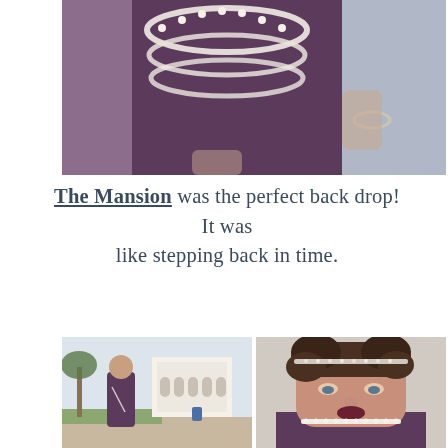[Figure (photo): Close-up photo of a woman in a dark purple/plum dress with layered pearl necklaces, being embraced by a man in a light blue shirt. The focus is on the necklaces and the torso area.]
The Mansion was the perfect back drop!  It was like stepping back in time.
[Figure (photo): Two side-by-side photos. Left: A woman in a purple/plum dress with a long pearl necklace standing outdoors in front of a white Mediterranean-style mansion, with palm trees in the background. Right: Close-up portrait of the same woman with curly short hair, wearing a rhinestone headband and pearl necklaces, looking downward.]